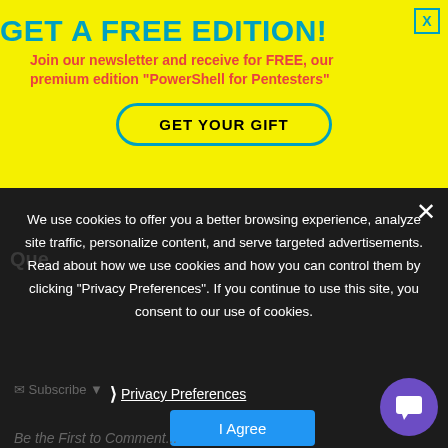GET A FREE EDITION!
Join our newsletter and receive for FREE, our premium edition “PowerShell for Pentesters”
GET YOUR GIFT
We use cookies to offer you a better browsing experience, analyze site traffic, personalize content, and serve targeted advertisements. Read about how we use cookies and how you can control them by clicking “Privacy Preferences”. If you continue to use this site, you consent to our use of cookies.
Privacy Preferences
I Agree